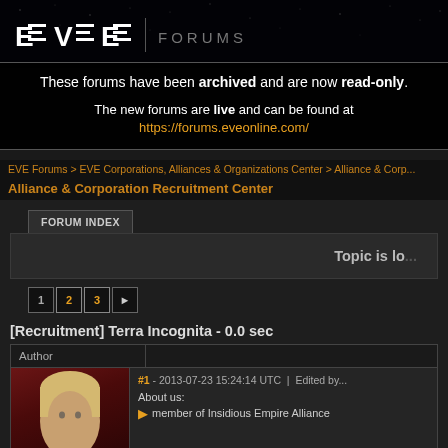[Figure (screenshot): EVE Online Forums header with space/stars background and EVE Forums logo]
These forums have been archived and are now read-only.
The new forums are live and can be found at https://forums.eveonline.com/
EVE Forums > EVE Corporations, Alliances & Organizations Center > Alliance & Corp...
Alliance & Corporation Recruitment Center
FORUM INDEX
Topic is lo...
1 2 3 ▶
[Recruitment] Terra Incognita - 0.0 sec
| Author |  |
| --- | --- |
|  | #1 - 2013-07-23 15:24:14 UTC  |  Edited by... |
|  | About us: |
|  | member of Insidious Empire Alliance |